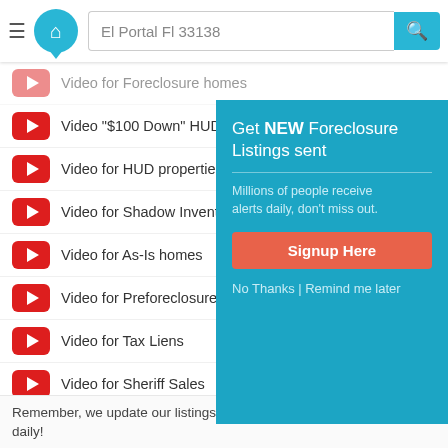El Portal Fl 33138
Video for Foreclosure homes
Video "$100 Down" HUD houses
Video for HUD properties
Video for Shadow Inventory
Video for As-Is homes
Video for Preforeclosures
Video for Tax Liens
Video for Sheriff Sales
Video for Short Sale homes
Video for Fixer Upper homes
Video for Bankruptcy homes
Video for City Owned homes
Video for Rent to Own homes
[Figure (infographic): Popup overlay: Get NEW Foreclosure Listings sent. Millions of people receive alerts daily, don't miss out. Signup Here button. No Thanks | Remind me later link.]
Remember, we update our listings often, so be sure to check back daily!